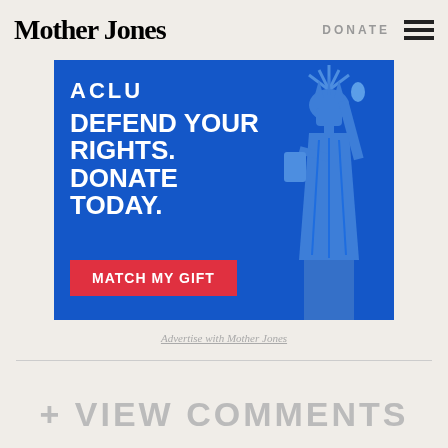Mother Jones | DONATE
[Figure (illustration): Mother Jones donation advertisement banner with blue background showing Statue of Liberty silhouette, text 'DEFEND YOUR RIGHTS. DONATE TODAY.' and red 'MATCH MY GIFT' button]
Advertise with Mother Jones
+ VIEW COMMENTS